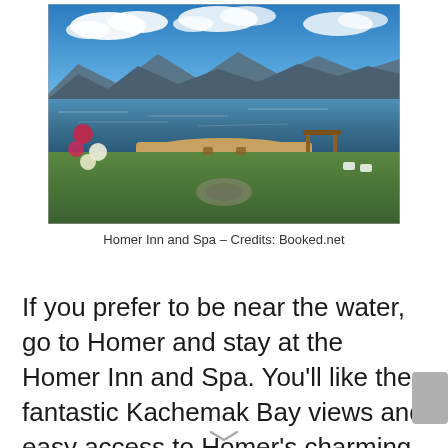[Figure (photo): Aerial view of Homer Inn and Spa showing a wooden deck overlooking Kachemak Bay with mountains in the background, flowers and garden in foreground]
Homer Inn and Spa – Credits: Booked.net
If you prefer to be near the water, go to Homer and stay at the Homer Inn and Spa. You'll like the fantastic Kachemak Bay views and easy access to Homer's charming downtown district, and the Homer Spit's